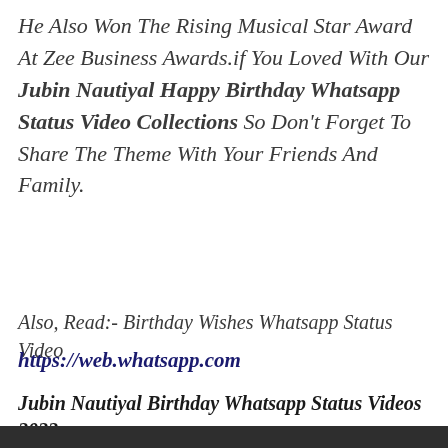He Also Won The Rising Musical Star Award At Zee Business Awards.if You Loved With Our Jubin Nautiyal Happy Birthday Whatsapp Status Video Collections  So Don't Forget To Share The Theme With Your Friends And Family.
Also, Read:- Birthday Wishes Whatsapp Status Video
https://web.whatsapp.com
Jubin Nautiyal Birthday Whatsapp Status Videos 2022